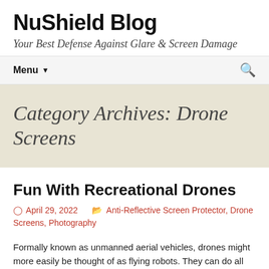NuShield Blog
Your Best Defense Against Glare & Screen Damage
Menu
Category Archives: Drone Screens
Fun With Recreational Drones
April 29, 2022   Anti-Reflective Screen Protector, Drone Screens, Photography
Formally known as unmanned aerial vehicles, drones might more easily be thought of as flying robots. They can do all